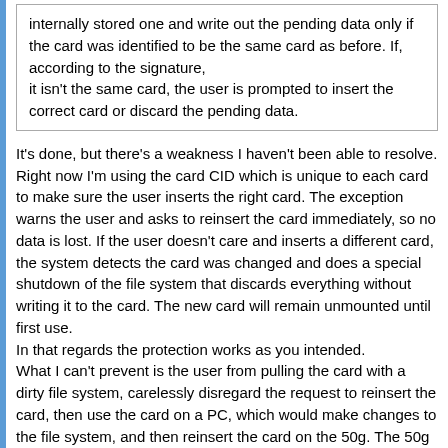internally stored one and write out the pending data only if the card was identified to be the same card as before. If, according to the signature,
it isn't the same card, the user is prompted to insert the correct card or discard the pending data.
It's done, but there's a weakness I haven't been able to resolve. Right now I'm using the card CID which is unique to each card to make sure the user inserts the right card. The exception warns the user and asks to reinsert the card immediately, so no data is lost. If the user doesn't care and inserts a different card, the system detects the card was changed and does a special shutdown of the file system that discards everything without writing it to the card. The new card will remain unmounted until first use.
In that regards the protection works as you intended.
What I can't prevent is the user from pulling the card with a dirty file system, carelessly disregard the request to reinsert the card, then use the card on a PC, which would make changes to the file system, and then reinsert the card on the 50g. The 50g would detect the same card is back and would keep the volume mounted, which risks corrupting the FAT if we had any pending writes to the FAT.
This case is quite rare, though, because the user has to pull the